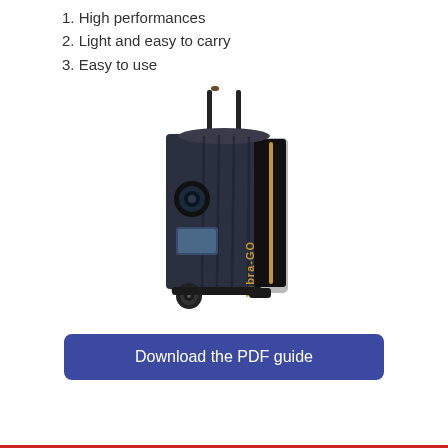1. High performances
2. Light and easy to carry
3. Easy to use
[Figure (photo): Vibra-GO portable speaker on wheels with retractable handle, black body with gold stripe and logo]
Download the PDF guide